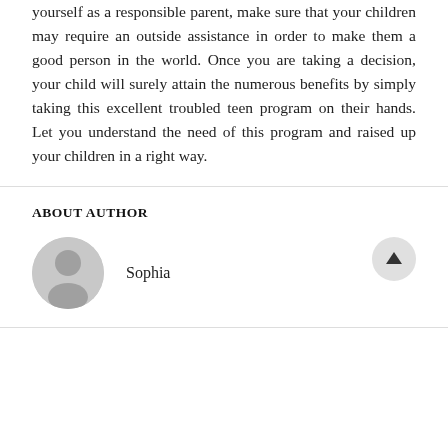yourself as a responsible parent, make sure that your children may require an outside assistance in order to make them a good person in the world. Once you are taking a decision, your child will surely attain the numerous benefits by simply taking this excellent troubled teen program on their hands. Let you understand the need of this program and raised up your children in a right way.
ABOUT AUTHOR
Sophia